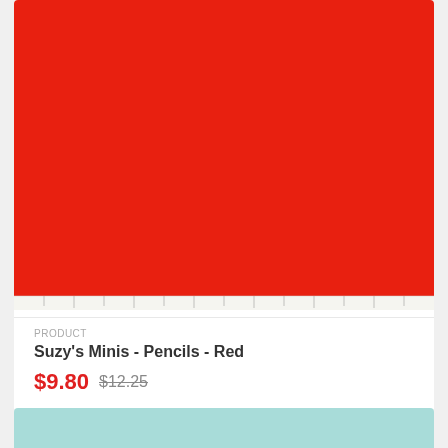[Figure (photo): Fabric with repeating pencil pattern on red background]
PRODUCT
Suzy's Minis - Pencils - Red
$9.80 $12.25
[Figure (photo): Fabric with repeating donut pattern on light blue background]